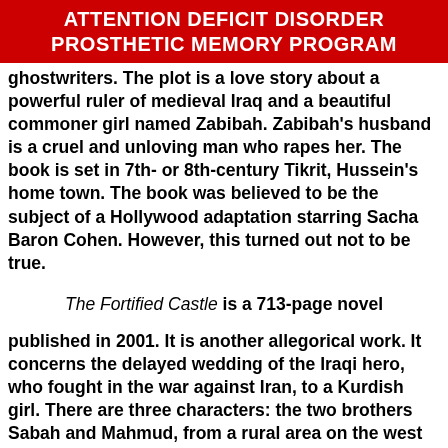ATTENTION DEFICIT DISORDER PROSTHETIC MEMORY PROGRAM
ghostwriters. The plot is a love story about a powerful ruler of medieval Iraq and a beautiful commoner girl named Zabibah. Zabibah's husband is a cruel and unloving man who rapes her. The book is set in 7th- or 8th-century Tikrit, Hussein's home town. The book was believed to be the subject of a Hollywood adaptation starring Sacha Baron Cohen. However, this turned out not to be true.
The Fortified Castle is a 713-page novel
published in 2001. It is another allegorical work. It concerns the delayed wedding of the Iraqi hero, who fought in the war against Iran, to a Kurdish girl. There are three characters: the two brothers Sabah and Mahmud, from a rural area on the west bank of the Tigris River who come from a farming family, and a young woman